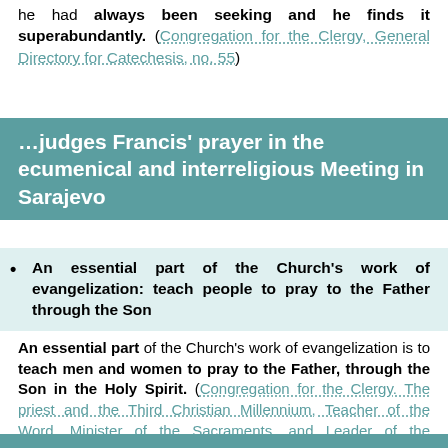he had always been seeking and he finds it superabundantly. (Congregation for the Clergy, General Directory for Catechesis, no. 55)
…judges Francis' prayer in the ecumenical and interreligious Meeting in Sarajevo
An essential part of the Church's work of evangelization: teach people to pray to the Father through the Son
An essential part of the Church's work of evangelization is to teach men and women to pray to the Father, through the Son in the Holy Spirit. (Congregation for the Clergy. The priest and the Third Christian Millennium, Teacher of the Word, Minister of the Sacraments, and Leader of the Community, Ch. 3, no. 2 , March 19, 1999)